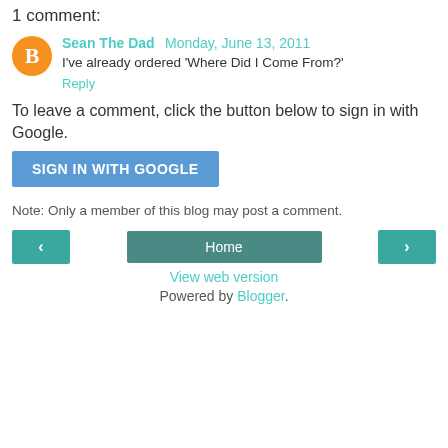1 comment:
Sean The Dad  Monday, June 13, 2011
I've already ordered 'Where Did I Come From?'
Reply
To leave a comment, click the button below to sign in with Google.
SIGN IN WITH GOOGLE
Note: Only a member of this blog may post a comment.
< Home > View web version Powered by Blogger.